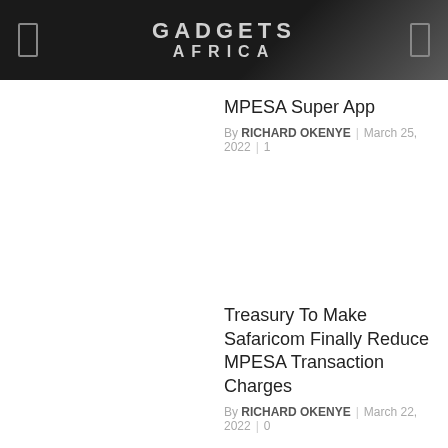GADGETS AFRICA
MPESA Super App
By RICHARD OKENYE  | March 25, 2022  | 1
Treasury To Make Safaricom Finally Reduce MPESA Transaction Charges
By RICHARD OKENYE  | March 22, 2022  | 0
Here's How To Pay Your KPLC Bill Via Mpesa